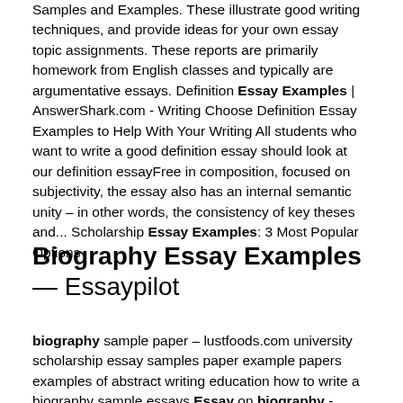Samples and Examples. These illustrate good writing techniques, and provide ideas for your own essay topic assignments. These reports are primarily homework from English classes and typically are argumentative essays. Definition Essay Examples | AnswerShark.com - Writing Choose Definition Essay Examples to Help With Your Writing All students who want to write a good definition essay should look at our definition essayFree in composition, focused on subjectivity, the essay also has an internal semantic unity – in other words, the consistency of key theses and... Scholarship Essay Examples: 3 Most Popular Options
Biography Essay Examples — Essaypilot
biography sample paper – lustfoods.com university scholarship essay samples paper example papers examples of abstract writing education how to write a biography sample essays Essay on biography - Excellent Academic Writing Service for You Essay on biography